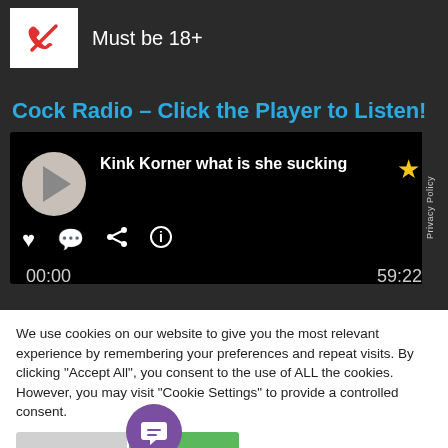[Figure (screenshot): Phone icon in white box with red telephone handset icon]
Must be 18+
Cock Radio – Click the Player to Listen!
[Figure (screenshot): Audio player with play button, track title 'Kink Korner what is she sucking', star icon, heart/comment/share/info icons, time 00:00 / 59:22, Privacy Policy label on right]
We use cookies on our website to give you the most relevant experience by remembering your preferences and repeat visits. By clicking "Accept All", you consent to the use of ALL the cookies. However, you may visit "Cookie Settings" to provide a controlled consent.
Cookie Settings   Accept All